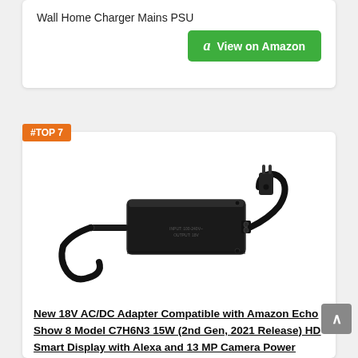Wall Home Charger Mains PSU
[Figure (other): Green Amazon 'View on Amazon' button with Amazon 'a' logo icon]
#TOP 7
[Figure (photo): Photo of a black 18V AC/DC power adapter with cables — a rectangular black brick charger with a barrel connector on one end and a figure-8 power input on the other, with a US wall plug cord attached]
New 18V AC/DC Adapter Compatible with Amazon Echo Show 8 Model C7H6N3 15W (2nd Gen, 2021 Release) HD Smart Display with Alexa and 13 MP Camera Power Supply Cord